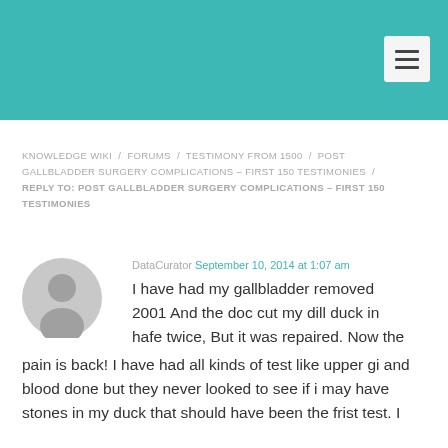[Figure (other): Teal/turquoise website header bar with hamburger menu button on the right]
KNOWLEDGE WIKI / FORUMS / TESTIMONY FROM 1500 / POST GALLBLADDER SURGERY COMPLICATIONS – FIRST 150 TESTIMONIES / REPLY TO: POST GALLBLADDER SURGERY COMPLICATIONS – FIRST 150 TESTIMONIES
DataCurator September 10, 2014 at 1:07 am
I have had my gallbladder removed 2001 And the doc cut my dill duck in hafe twice, But it was repaired. Now the pain is back! I have had all kinds of test like upper gi and blood done but they never looked to see if i may have stones in my duck that should have been the frist test. I